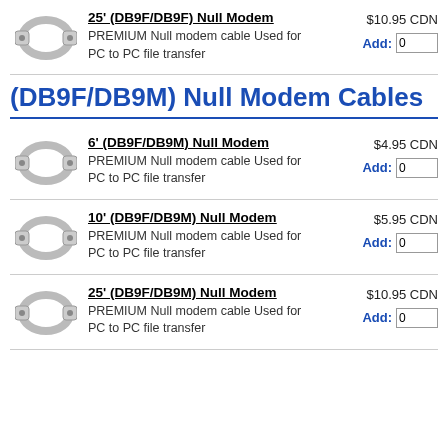25' (DB9F/DB9F) Null Modem — $10.95 CDN — PREMIUM Null modem cable Used for PC to PC file transfer — Add: 0
(DB9F/DB9M) Null Modem Cables
6' (DB9F/DB9M) Null Modem — $4.95 CDN — PREMIUM Null modem cable Used for PC to PC file transfer — Add: 0
10' (DB9F/DB9M) Null Modem — $5.95 CDN — PREMIUM Null modem cable Used for PC to PC file transfer — Add: 0
25' (DB9F/DB9M) Null Modem — $10.95 CDN — PREMIUM Null modem cable Used for PC to PC file transfer — Add: 0